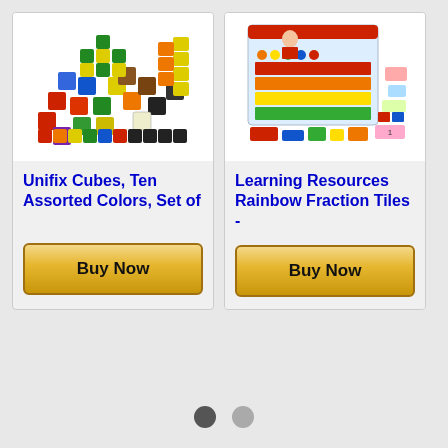[Figure (photo): Colorful Unifix connecting cubes in various colors scattered and arranged in patterns]
Unifix Cubes, Ten Assorted Colors, Set of
Buy Now
[Figure (photo): Learning Resources Rainbow Fraction Tiles product package with colorful fraction strips and tiles]
Learning Resources Rainbow Fraction Tiles -
Buy Now